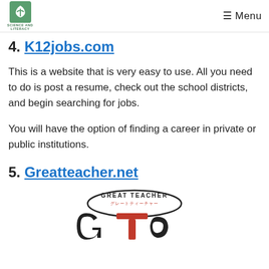Science and Literacy — Menu
4. K12jobs.com
This is a website that is very easy to use. All you need to do is post a resume, check out the school districts, and begin searching for jobs.
You will have the option of finding a career in private or public institutions.
5. Greatteacher.net
[Figure (logo): Great Teacher (GT) logo — circular badge with text 'GREAT TEACHER' and Japanese text, featuring large red and black stylized GT letters below]